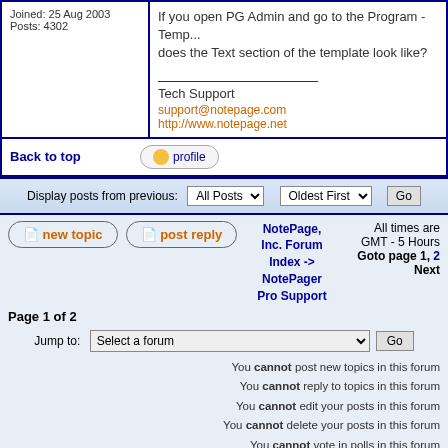Joined: 25 Aug 2003
Posts: 4302
If you open PG Admin and go to the Program - Temp... does the Text section of the template look like?
Tech Support
support@notepage.com
http://www.notepage.net
Back to top
Display posts from previous: All Posts Oldest First Go
new topic   post reply
NotePage, Inc. Forum Index -> NotePager Pro Support
All times are GMT - 5 Hours
Goto page 1, 2 Next
Page 1 of 2
Jump to: Select a forum  Go
You cannot post new topics in this forum
You cannot reply to topics in this forum
You cannot edit your posts in this forum
You cannot delete your posts in this forum
You cannot vote in polls in this forum
Powered by phpBB © 2001, 2002 phpBB Group
Theme created by Vjacheslav Trushkin